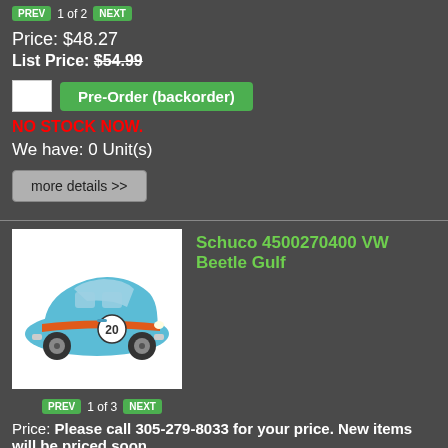PREV 1 of 2 NEXT
Price: $48.27
List Price: $54.99
Pre-Order (backorder)
NO STOCK NOW.
We have: 0 Unit(s)
more details >>
[Figure (photo): VW Beetle Gulf edition model car, light blue with orange stripe and number 20, side view]
Schuco 4500270400 VW Beetle Gulf
PREV 1 of 3 NEXT
Price: Please call 305-279-8033 for your price. New items will be priced soon.
Pre-Order (backorder)
New item not released yet.
Pre-order now to reserve...